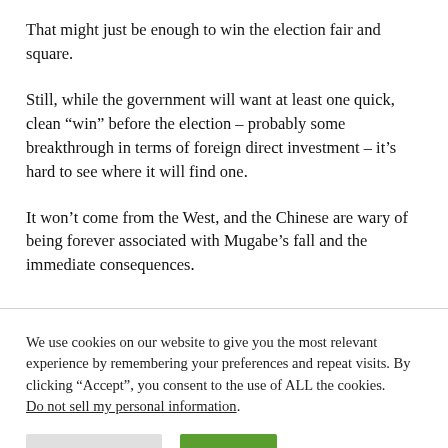That might just be enough to win the election fair and square.
Still, while the government will want at least one quick, clean “win” before the election – probably some breakthrough in terms of foreign direct investment – it’s hard to see where it will find one.
It won’t come from the West, and the Chinese are wary of being forever associated with Mugabe’s fall and the immediate consequences.
We use cookies on our website to give you the most relevant experience by remembering your preferences and repeat visits. By clicking “Accept”, you consent to the use of ALL the cookies. Do not sell my personal information.